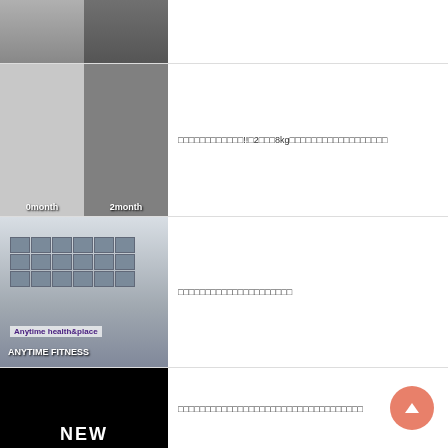[Figure (photo): Before and after body transformation photos (top portion cropped), two people standing side by side]
[Figure (photo): Before/after body transformation photos labeled 0month and 2month, showing a man's physique change over 2 months with 8kg loss]
筋トレ初心者必見!!◯2ヶ月で8kgの減量に成功した筋トレ・食事法まとめ
[Figure (photo): Exterior photo of a gym building (Anytime Fitness or similar), white multi-story building with signage]
体のゆがみを整えてくれるジムを探してみた
[Figure (photo): Bodybuilders posing on stage with text NEW at the bottom, dark background]
筋トレ初心者がコンテストに出場するまでの道のりを全部まとめてみた